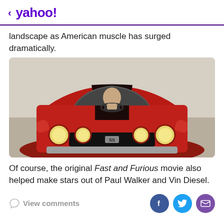< yahoo!
landscape as American muscle has surged dramatically.
[Figure (photo): Front view of a red muscle car (Chevrolet Chevelle SS) with a person visible through the windshield, leaning forward over the steering wheel. The car has round headlights, a black hood stripe, and a bold front grille.]
Of course, the original Fast and Furious movie also helped make stars out of Paul Walker and Vin Diesel.
View comments